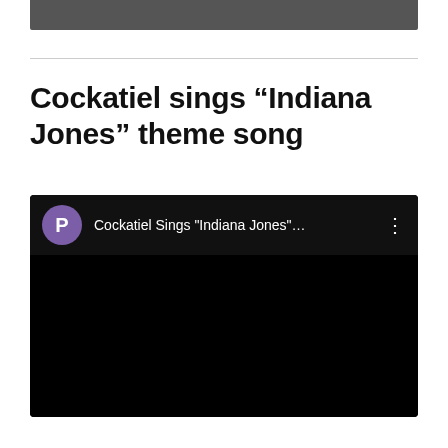[Figure (photo): Partial top image, dark/grey cropped photograph at top of page]
Cockatiel sings “Indiana Jones” theme song
[Figure (screenshot): Embedded YouTube-style video player showing 'Cockatiel Sings "Indiana Jones"...' with purple avatar circle showing 'P', three-dot menu icon, and black video area below]